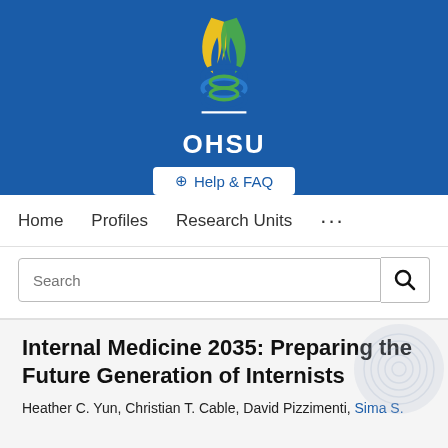[Figure (logo): OHSU (Oregon Health & Science University) logo — stylized DNA helix flame in blue, green, and gold colors on a blue banner background with OHSU text in white]
⊕ Help & FAQ
Home   Profiles   Research Units   •••
Search
Internal Medicine 2035: Preparing the Future Generation of Internists
Heather C. Yun, Christian T. Cable, David Pizzimenti, Sima S.